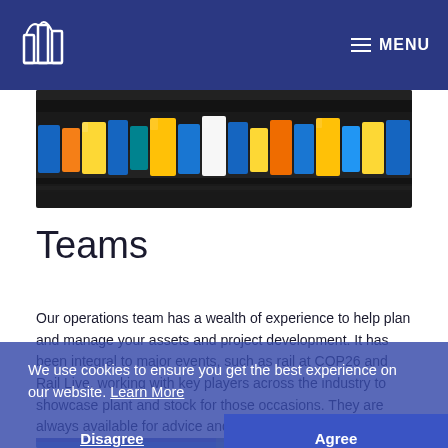MENU
[Figure (photo): Photo of colorful electrical wire connectors and cables bundled together]
Teams
Our operations team has a wealth of experience to help plan and manage your assets and project development. It has been integral to major events, such as rail at COP26 and Rail Live, working with key players across the industry to showcase plant and stock for those occasions. They are always available for advice and support for our customers.
We use cookies to ensure you get the best experience on our website. Learn More
Disagree
Agree
[Figure (photo): Aerial or wide-angle photo showing outdoor scene, partially visible at bottom of page]